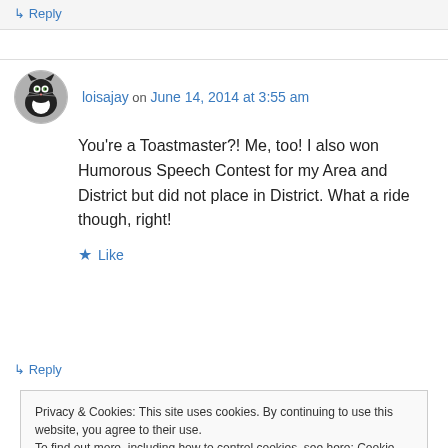↳ Reply
loisajay on June 14, 2014 at 3:55 am
You're a Toastmaster?! Me, too! I also won Humorous Speech Contest for my Area and District but did not place in District. What a ride though, right!
★ Like
↳ Reply
Privacy & Cookies: This site uses cookies. By continuing to use this website, you agree to their use.
To find out more, including how to control cookies, see here: Cookie Policy
Close and accept